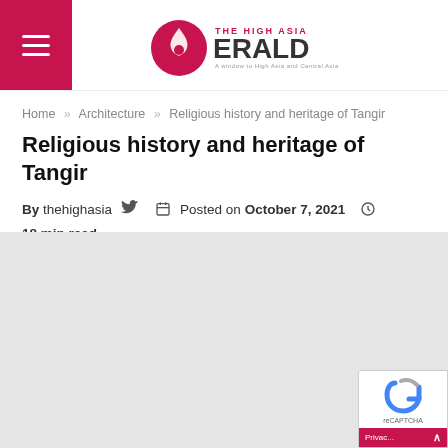The High Asia Herald
Home » Architecture » Religious history and heritage of Tangir
Religious history and heritage of Tangir
By thehighasia   Posted on October 7, 2021   18 min read
0   0   1,116
[Figure (photo): Grey placeholder image area for the article]